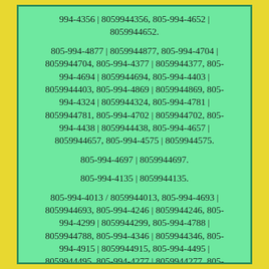994-4356 | 8059944356, 805-994-4652 | 8059944652.
805-994-4877 | 8059944877, 805-994-4704 | 8059944704, 805-994-4377 | 8059944377, 805-994-4694 | 8059944694, 805-994-4403 | 8059944403, 805-994-4869 | 8059944869, 805-994-4324 | 8059944324, 805-994-4781 | 8059944781, 805-994-4702 | 8059944702, 805-994-4438 | 8059944438, 805-994-4657 | 8059944657, 805-994-4575 | 8059944575.
805-994-4697 | 8059944697.
805-994-4135 | 8059944135.
805-994-4013 / 8059944013, 805-994-4693 | 8059944693, 805-994-4246 | 8059944246, 805-994-4299 | 8059944299, 805-994-4788 | 8059944788, 805-994-4346 | 8059944346, 805-994-4915 | 8059944915, 805-994-4495 | 8059944495, 805-994-4277 | 8059944277, 805-994-4018 / 8059944018;
805-994-4396 | 8059944396.